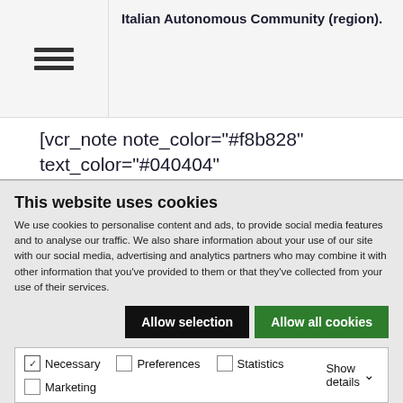[Figure (screenshot): Top navigation bar with hamburger menu icon on left side and truncated text on right]
[vcr_note note_color="#f8b828" text_color="#040404" radius="5"]About Ecoembes
Ecoembes (www.ecoembes.com) is a charity that manages the recovery and recycling of plastic
This website uses cookies
We use cookies to personalise content and ads, to provide social media features and to analyse our traffic. We also share information about your use of our site with our social media, advertising and analytics partners who may combine it with other information that you've provided to them or that they've collected from your use of their services.
Allow selection | Allow all cookies
Necessary  Preferences  Statistics  Marketing  Show details